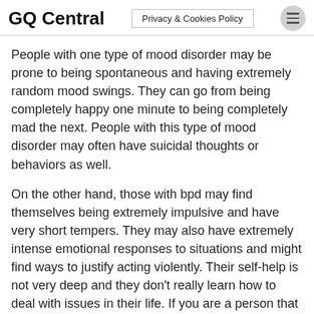GQ Central | Privacy & Cookies Policy
People with one type of mood disorder may be prone to being spontaneous and having extremely random mood swings. They can go from being completely happy one minute to being completely mad the next. People with this type of mood disorder may often have suicidal thoughts or behaviors as well.
On the other hand, those with bpd may find themselves being extremely impulsive and have very short tempers. They may also have extremely intense emotional responses to situations and might find ways to justify acting violently. Their self-help is not very deep and they don’t really learn how to deal with issues in their life. If you are a person that has a friend or loved one that has bpd, then you